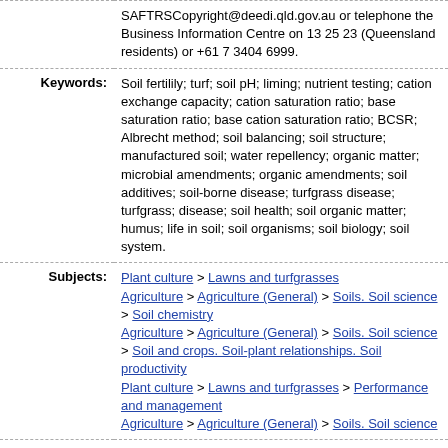SAFTRSCopyright@deedi.qld.gov.au or telephone the Business Information Centre on 13 25 23 (Queensland residents) or +61 7 3404 6999.
| Keywords: | Soil fertilily; turf; soil pH; liming; nutrient testing; cation exchange capacity; cation saturation ratio; base saturation ratio; base cation saturation ratio; BCSR; Albrecht method; soil balancing; soil structure; manufactured soil; water repellency; organic matter; microbial amendments; organic amendments; soil additives; soil-borne disease; turfgrass disease; turfgrass; disease; soil health; soil organic matter; humus; life in soil; soil organisms; soil biology; soil system. |
| Subjects: | Plant culture > Lawns and turfgrasses
Agriculture > Agriculture (General) > Soils. Soil science > Soil chemistry
Agriculture > Agriculture (General) > Soils. Soil science > Soil and crops. Soil-plant relationships. Soil productivity
Plant culture > Lawns and turfgrasses > Performance and management
Agriculture > Agriculture (General) > Soils. Soil science |
| Deposited On: | 08 Sep 2011 05:39 |
| Last Modified: | 03 Sep 2021 16:43 |
Repository Staff Only: item control page